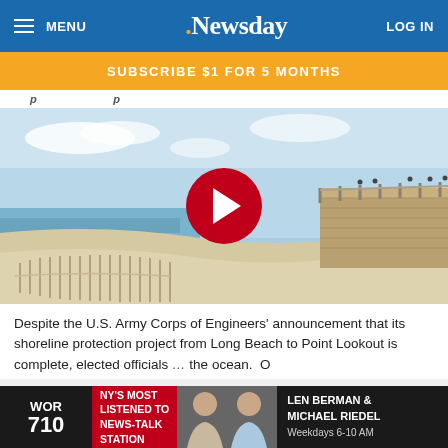MENU | Newsday | LOG IN
SUBSCRIBE $1 FOR 5 MONTHS
[Figure (photo): Beach scene with sand dunes and wooden fence, boardwalk visible on right, blue sky. Video play button overlay in center.]
Despite the U.S. Army Corps of Engineers' announcement that its shoreline protection project from Long Beach to Point Lookout is complete, elected officials … the ocean.
[Figure (infographic): WOR 710 radio ad banner: NY'S MOST LISTENED TO NEWS-TALK STATION. LEN BERMAN & MICHAEL RIEDEL. Weekdays 6-10 AM. Two male hosts pictured.]